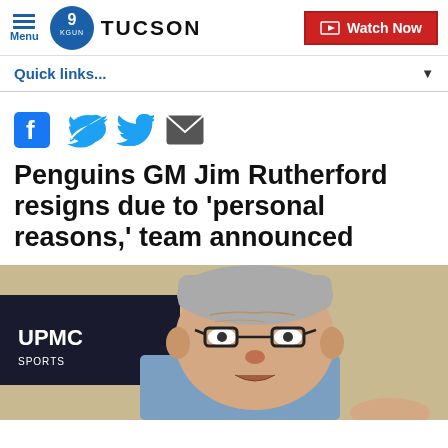Menu | 9 KGUN TUCSON | Watch Now
Quick links...
[Figure (other): Social sharing icons: Facebook, Twitter, Email]
Penguins GM Jim Rutherford resigns due to 'personal reasons,' team announced
[Figure (photo): Close-up photo of Jim Rutherford, an older man with gray hair and glasses, speaking, with UPMC signage visible in background]